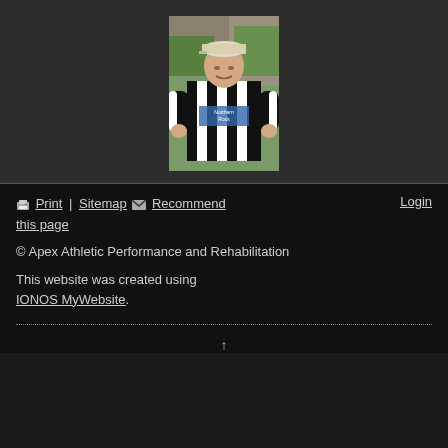[Figure (photo): Man wearing a black and white striped Newcastle United football jersey with 'Northern Rock' sponsor, wearing a cap, standing outdoors with greenery and rocks in background]
🖨 Print | Sitemap ✉ Recommend this page    Login
© Apex Athletic Performance and Rehabilitation
This website was created using IONOS MyWebsite.